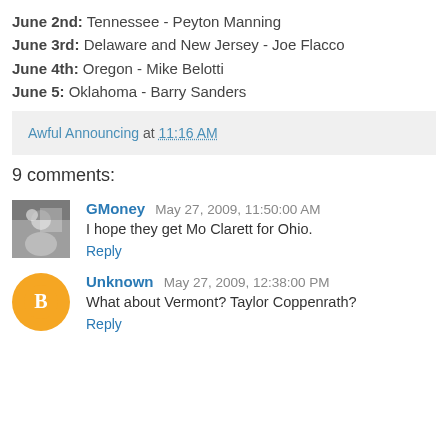June 2nd: Tennessee - Peyton Manning
June 3rd: Delaware and New Jersey - Joe Flacco
June 4th: Oregon - Mike Belotti
June 5: Oklahoma - Barry Sanders
Awful Announcing at 11:16 AM
9 comments:
GMoney May 27, 2009, 11:50:00 AM
I hope they get Mo Clarett for Ohio.
Reply
Unknown May 27, 2009, 12:38:00 PM
What about Vermont? Taylor Coppenrath?
Reply